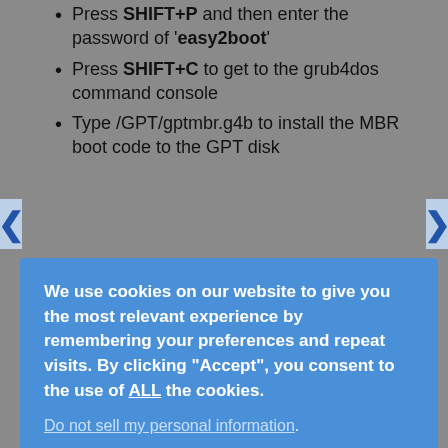Press SHIFT+P and then enter the password of 'easy2boot'
Press SHIFT+C to get to the grub4dos command console
Type /GPT/gptmbr.g4b to install the MBR boot code to the GPT disk
[Figure (screenshot): Cookie consent overlay on blue background with text: We use cookies on our website to give you the most relevant experience by remembering your preferences and repeat visits. By clicking Accept, you consent to the use of ALL the cookies. Link: Do not sell my personal information. Buttons: Cookie settings, ACCEPT]
Hibernate will not work.
Windows Recovery/Repair will not work and repairing your system using the Install ISO will not work,
Windows Update may fail on some updates – you may